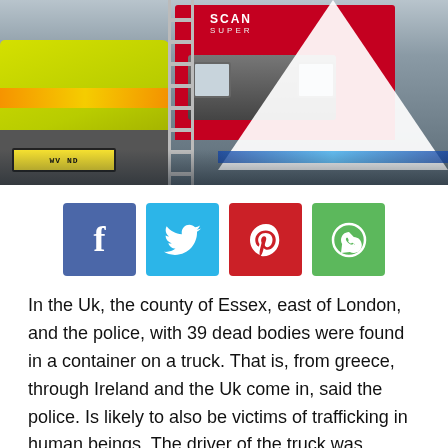[Figure (photo): Police forensic scene with a red Scania truck, a white forensic tent, and a yellow-green emergency vehicle with flashing lights in Essex, UK.]
[Figure (infographic): Social media sharing buttons: Facebook (blue), Twitter (cyan), Pinterest (red), WhatsApp (green)]
In the Uk, the county of Essex, east of London, and the police, with 39 dead bodies were found in a container on a truck. That is, from greece, through Ireland and the Uk come in, said the police. Is likely to also be victims of trafficking in human beings. The driver of the truck was arrested on suspicion of murder. It's going to be a 25-year-old man from the North of Ireland.